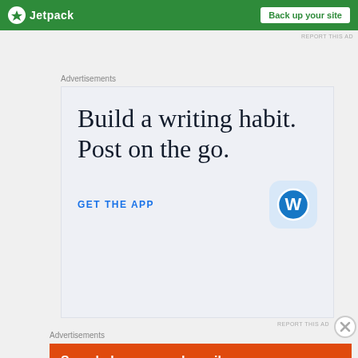[Figure (screenshot): Jetpack green banner ad with logo and 'Back up your site' button]
REPORT THIS AD
Advertisements
[Figure (screenshot): WordPress app ad on light blue background: 'Build a writing habit. Post on the go.' with GET THE APP link and WordPress app icon]
REPORT THIS AD
Advertisements
[Figure (screenshot): DuckDuckGo orange ad: 'Search, browse, and email with more privacy.' with phone image]